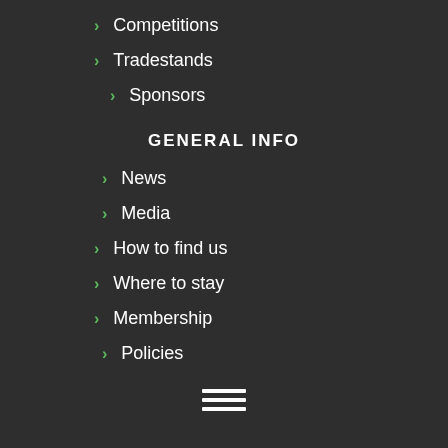> Competitions
> Tradestands
> Sponsors
GENERAL INFO
> News
> Media
> How to find us
> Where to stay
> Membership
> Policies
[Figure (other): Hamburger menu icon — three horizontal white lines]